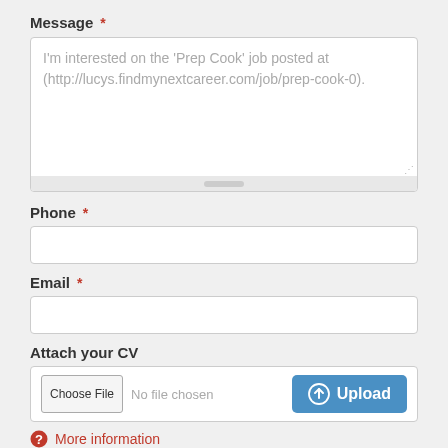Message *
I'm interested on the 'Prep Cook' job posted at (http://lucys.findmynextcareer.com/job/prep-cook-0).
Phone *
Email *
Attach your CV
Choose File  No file chosen  Upload
More information